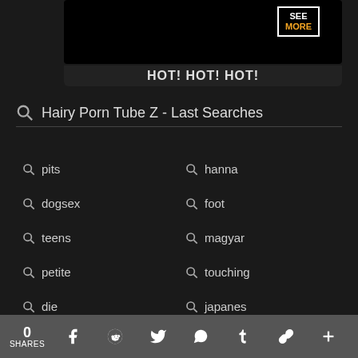[Figure (screenshot): Black video thumbnail area with SEE MORE label in top right corner]
HOT! HOT! HOT!
Hairy Porn Tube Z - Last Searches
pits
hanna
dogsex
foot
teens
magyar
petite
touching
die
japanes
0 SHARES